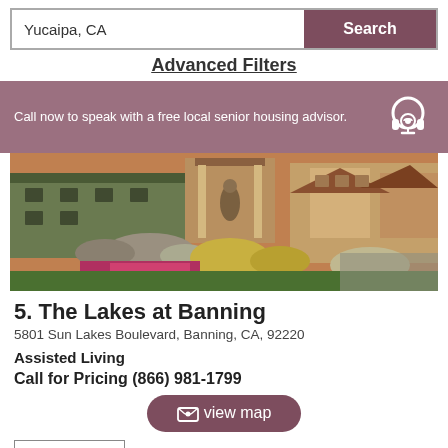Yucaipa, CA
Search
Advanced Filters
Call now to speak with a free local senior housing advisor.
[Figure (photo): Exterior photo of The Lakes at Banning senior living community showing landscaped gardens with rocks, colorful flowers, grass, and building entrance with covered canopy and a decorative statue.]
5. The Lakes at Banning
5801 Sun Lakes Boulevard, Banning, CA, 92220
Assisted Living
Call for Pricing (866) 981-1799
view map
View Details